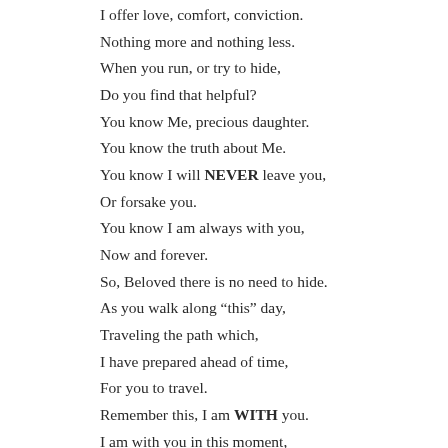I offer love, comfort, conviction.
Nothing more and nothing less.
When you run, or try to hide,
Do you find that helpful?
You know Me, precious daughter.
You know the truth about Me.
You know I will NEVER leave you,
Or forsake you.
You know I am always with you,
Now and forever.
So, Beloved there is no need to hide.
As you walk along “this” day,
Traveling the path which,
I have prepared ahead of time,
For you to travel.
Remember this, I am WITH you.
I am with you in this moment,
I WILL be with you within every
single “next” moment as well.
There is nothing, not-one-thing,